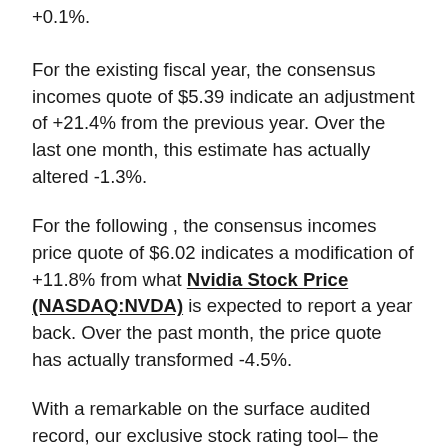+0.1%.
For the existing fiscal year, the consensus incomes quote of $5.39 indicate an adjustment of +21.4% from the previous year. Over the last one month, this estimate has actually altered -1.3%.
For the following , the consensus incomes price quote of $6.02 indicates a modification of +11.8% from what Nvidia Stock Price (NASDAQ:NVDA) is expected to report a year back. Over the past month, the price quote has actually transformed -4.5%.
With a remarkable on the surface audited record, our exclusive stock rating tool– the Zacks Rank– is an extra definitive indication of a stock's near-term price